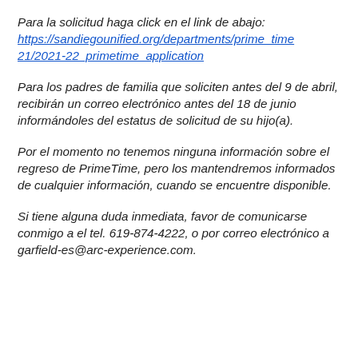Para la solicitud haga click en el link de abajo: https://sandiegounified.org/departments/prime_time21/2021-22_primetime_application
Para los padres de familia que soliciten antes del 9 de abril, recibirán un correo electrónico antes del 18 de junio informándoles del estatus de solicitud de su hijo(a).
Por el momento no tenemos ninguna información sobre el regreso de PrimeTime, pero los mantendremos informados de cualquier información, cuando se encuentre disponible.
Si tiene alguna duda inmediata, favor de comunicarse conmigo a el tel. 619-874-4222, o por correo electrónico a garfield-es@arc-experience.com.